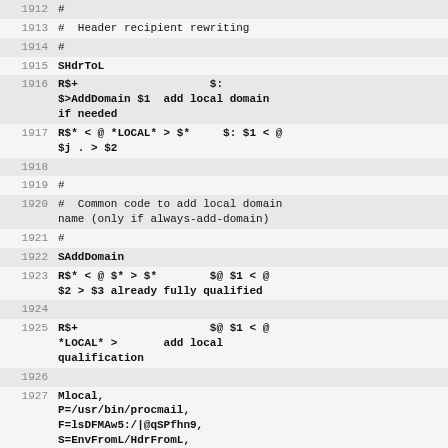| line | code |
| --- | --- |
| 1912 | # |
| 1913 | #  Header recipient rewriting |
| 1914 | # |
| 1915 | SHdrToL |
| 1916 | R$+                    $:
$>AddDomain $1  add local domain
if needed |
| 1917 | R$* < @ *LOCAL* > $*     $: $1 < @
$j . > $2 |
| 1918 |  |
| 1919 | # |
| 1920 | #  Common code to add local domain
name (only if always-add-domain) |
| 1921 | # |
| 1922 | SAddDomain |
| 1923 | R$* < @ $* > $*         $@ $1 < @
$2 > $3 already fully qualified |
| 1924 |  |
| 1925 | R$+                    $@ $1 < @
*LOCAL* >       add local
qualification |
| 1926 |  |
| 1927 | Mlocal,
P=/usr/bin/procmail,
F=lsDFMAw5:/|@qSPfhn9,
S=EnvFromL/HdrFromL,
R=EnvToL/HdrToL, |
| 1928 |                  T=DNS/RFC822/X-
Unix, |
| 1929 |                  A=procmail -t -Y - |